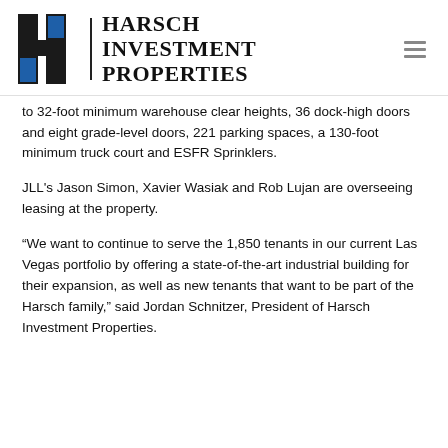Harsch Investment Properties
to 32-foot minimum warehouse clear heights, 36 dock-high doors and eight grade-level doors, 221 parking spaces, a 130-foot minimum truck court and ESFR Sprinklers.
JLL's Jason Simon, Xavier Wasiak and Rob Lujan are overseeing leasing at the property.
“We want to continue to serve the 1,850 tenants in our current Las Vegas portfolio by offering a state-of-the-art industrial building for their expansion, as well as new tenants that want to be part of the Harsch family,” said Jordan Schnitzer, President of Harsch Investment Properties.